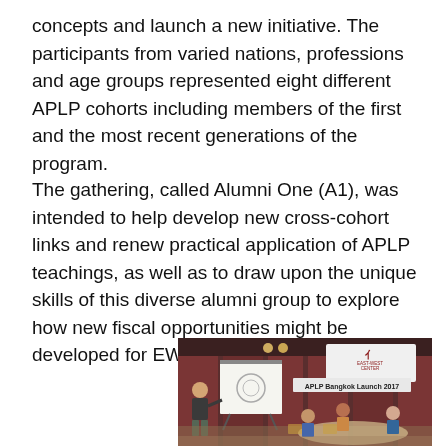concepts and launch a new initiative. The participants from varied nations, professions and age groups represented eight different APLP cohorts including members of the first and the most recent generations of the program.
The gathering, called Alumni One (A1), was intended to help develop new cross-cohort links and renew practical application of APLP teachings, as well as to draw upon the unique skills of this diverse alumni group to explore how new fiscal opportunities might be developed for EWC.
[Figure (photo): Indoor group meeting scene showing a man standing at a whiteboard/easel presenting, with several attendees seated around a table. A sign in the background reads 'APLP Bangkok Launch 2017' and shows the East-West Center logo.]